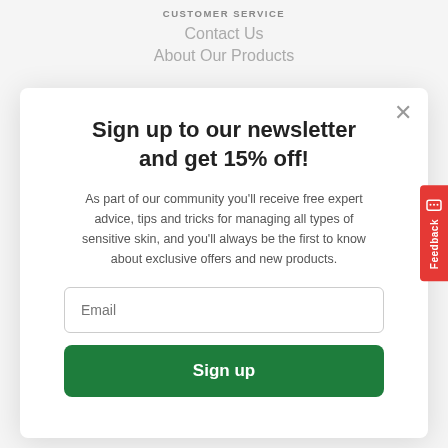CUSTOMER SERVICE
Contact Us
About Our Products
Sign up to our newsletter and get 15% off!
As part of our community you'll receive free expert advice, tips and tricks for managing all types of sensitive skin, and you'll always be the first to know about exclusive offers and new products.
Email
Sign up
Feedback